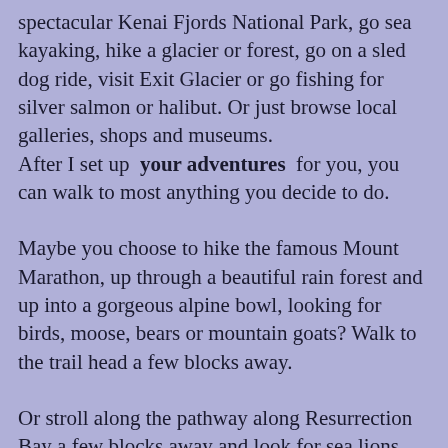spectacular Kenai Fjords National Park, go sea kayaking, hike a glacier or forest, go on a sled dog ride, visit Exit Glacier or go fishing for silver salmon or halibut. Or just browse local galleries, shops and museums.
After I set up  your adventures  for you, you can walk to most anything you decide to do.
Maybe you choose to hike the famous Mount Marathon, up through a beautiful rain forest and up into a gorgeous alpine bowl, looking for birds, moose, bears or mountain goats? Walk to the trail head a few blocks away.
Or stroll along the pathway along Resurrection Bay a few blocks away and look for sea lions, otters, whales and birds in route to downtown or the small boat harbor. Enjoy amazing view of oceans, mountains and glaciers. Have a fantastic day filled with the amazing scenic wildlife and...